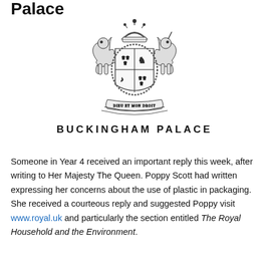Palace
[Figure (illustration): Royal coat of arms of the United Kingdom, black and white engraving style, with shield, lion and unicorn supporters, crown on top, and motto banner below.]
BUCKINGHAM PALACE
Someone in Year 4 received an important reply this week, after writing to Her Majesty The Queen. Poppy Scott had written expressing her concerns about the use of plastic in packaging. She received a courteous reply and suggested Poppy visit www.royal.uk and particularly the section entitled The Royal Household and the Environment.